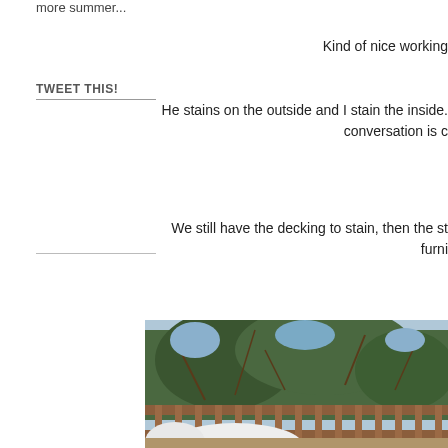more summer...
TWEET THIS!
Kind of nice working
He stains on the outside and I stain the inside. conversation is c
We still have the decking to stain, then the st furni
[Figure (photo): Outdoor deck with wooden railing and slats, trees visible in background, white outdoor furniture partially visible in foreground]